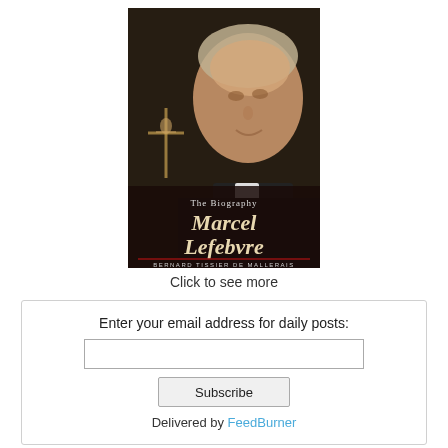[Figure (illustration): Book cover of 'Marcel Lefebvre: The Biography' by Bernard Tissier de Mallerais. Shows an elderly priest smiling, with a crucifix visible in the background. Title text reads 'The Biography Marcel Lefebvre' and author 'Bernard Tissier de Mallerais'.]
Click to see more
Enter your email address for daily posts:
Subscribe
Delivered by FeedBurner